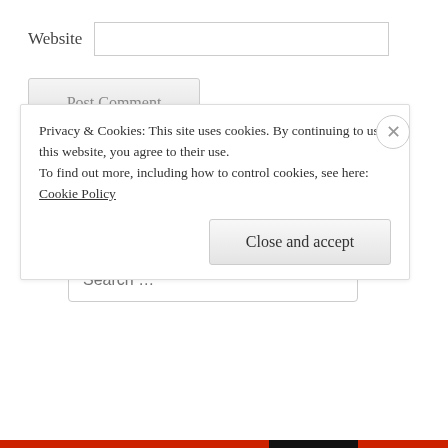Website
Post Comment
Notify me of new comments via email.
Notify me of new posts via email.
Search …
Privacy & Cookies: This site uses cookies. By continuing to use this website, you agree to their use. To find out more, including how to control cookies, see here: Cookie Policy
Close and accept